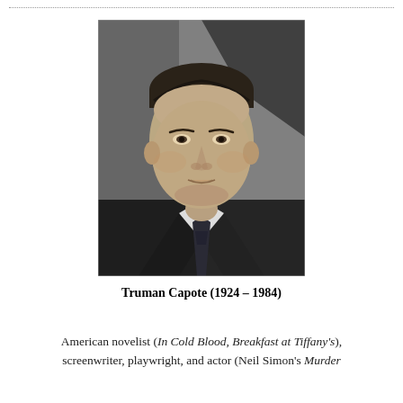[Figure (photo): Black and white portrait photograph of Truman Capote, showing him from chest up, wearing a dark suit and tie, with a neutral expression, against a gray background.]
Truman Capote (1924 – 1984)
American novelist (In Cold Blood, Breakfast at Tiffany's), screenwriter, playwright, and actor (Neil Simon's Murder